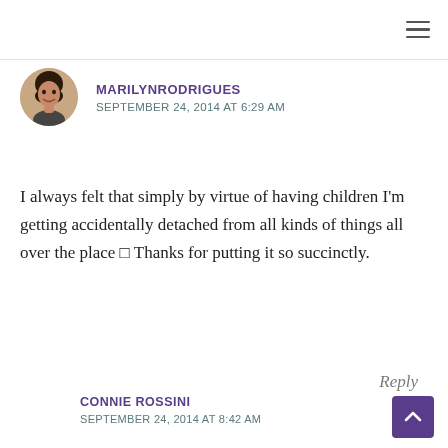Navigation menu (hamburger icon)
MARILYNRODRIGUES
SEPTEMBER 24, 2014 AT 6:29 AM
I always felt that simply by virtue of having children I'm getting accidentally detached from all kinds of things all over the place □ Thanks for putting it so succinctly.
Reply
CONNIE ROSSINI
SEPTEMBER 24, 2014 AT 8:42 AM